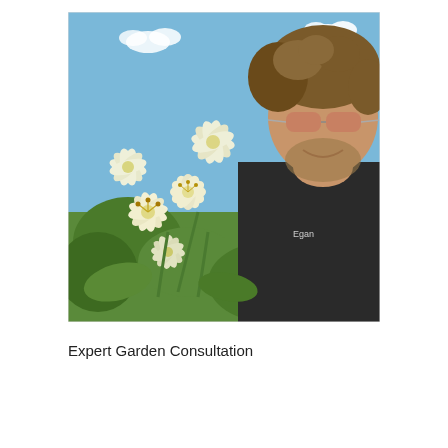[Figure (photo): A man with curly hair, beard, and aviator sunglasses smiling close to a large cluster of white lily flowers, with a blue sky and clouds in the background. The man is wearing a dark jacket with the name 'Egan' visible.]
Expert Garden Consultation